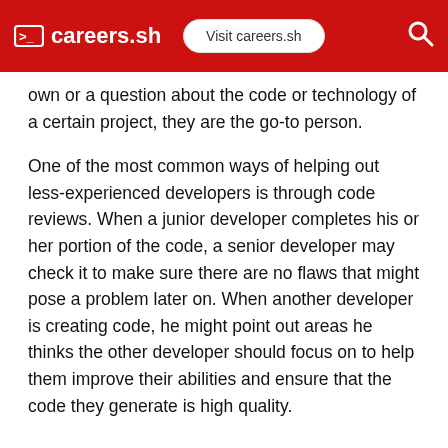careers.sh  Visit careers.sh
own or a question about the code or technology of a certain project, they are the go-to person.
One of the most common ways of helping out less-experienced developers is through code reviews. When a junior developer completes his or her portion of the code, a senior developer may check it to make sure there are no flaws that might pose a problem later on. When another developer is creating code, he might point out areas he thinks the other developer should focus on to help them improve their abilities and ensure that the code they generate is high quality.